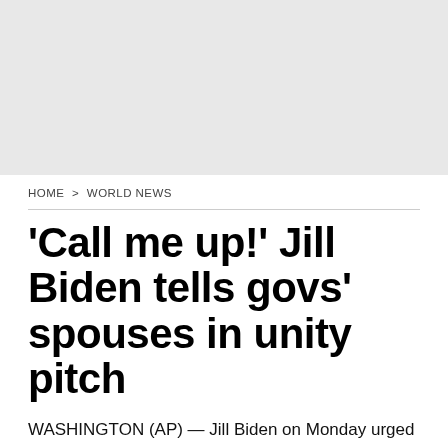[Figure (other): Gray advertisement placeholder box at the top of the page]
HOME > WORLD NEWS
'Call me up!' Jill Biden tells govs' spouses in unity pitch
WASHINGTON (AP) — Jill Biden on Monday urged spouses of the nation's governors to keep working together and with her on issues she says transcend politics, such as her efforts to help military families and supporting research into a cure